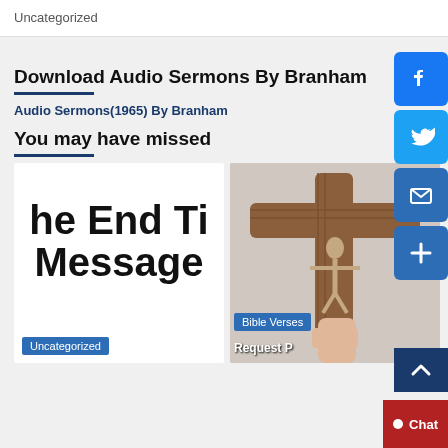Uncategorized
Download Audio Sermons By Branham
Audio Sermons(1965) By Branham
You may have missed
[Figure (screenshot): Card with large text reading 'he End Tim Message' with Uncategorized tag]
[Figure (photo): Photo of a wooden crucifix being held by a hand, with Bible Verses tag and partial text 'Request']